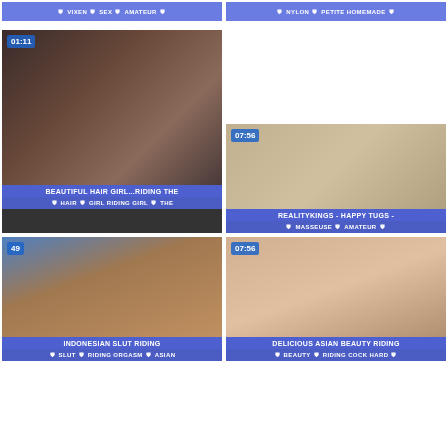[Figure (screenshot): Top left video thumbnail strip with tags: VIXEN, SEX, AMATEUR]
[Figure (screenshot): Top right video thumbnail strip with tags: NYLON, PETITE HOMEMADE]
[Figure (screenshot): Video thumbnail: BEAUTIFUL HAIR GIRL...RIDING THE, duration 01:11, tags: HAIR, GIRL RIDING GIRL, THE]
[Figure (screenshot): Video thumbnail: REALITYKINGS - HAPPY TUGS -, duration 07:56, tags: MASSEUSE, AMATEUR]
[Figure (screenshot): Video thumbnail: INDONESIAN SLUT RIDING, badge 49, tags: SLUT, RIDING ORGASM, ASIAN]
[Figure (screenshot): Video thumbnail: DELICIOUS ASIAN BEAUTY RIDING, duration 07:56, tags: BEAUTY, RIDING COCK HARD]